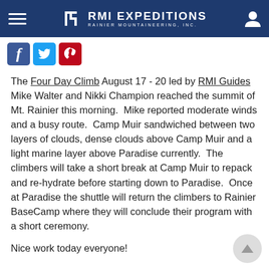RMI EXPEDITIONS — RAINIER MOUNTAINEERING, INC.
[Figure (logo): Social media share buttons: Facebook (f), Twitter (bird), Pinterest (P)]
The Four Day Climb August 17 - 20 led by RMI Guides Mike Walter and Nikki Champion reached the summit of Mt. Rainier this morning.  Mike reported moderate winds and a busy route.  Camp Muir sandwiched between two layers of clouds, dense clouds above Camp Muir and a light marine layer above Paradise currently.  The climbers will take a short break at Camp Muir to repack and re-hydrate before starting down to Paradise.  Once at Paradise the shuttle will return the climbers to Rainier BaseCamp where they will conclude their program with a short ceremony.
Nice work today everyone!